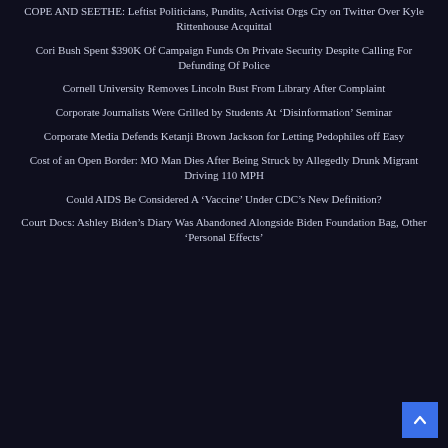COPE AND SEETHE: Leftist Politicians, Pundits, Activist Orgs Cry on Twitter Over Kyle Rittenhouse Acquittal
Cori Bush Spent $390K Of Campaign Funds On Private Security Despite Calling For Defunding Of Police
Cornell University Removes Lincoln Bust From Library After Complaint
Corporate Journalists Were Grilled by Students At ‘Disinformation’ Seminar
Corporate Media Defends Ketanji Brown Jackson for Letting Pedophiles off Easy
Cost of an Open Border: MO Man Dies After Being Struck by Allegedly Drunk Migrant Driving 110 MPH
Could AIDS Be Considered A ‘Vaccine’ Under CDC’s New Definition?
Court Docs: Ashley Biden’s Diary Was Abandoned Alongside Biden Foundation Bag, Other ‘Personal Effects’